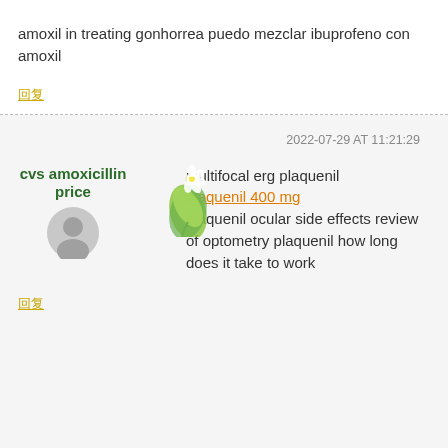amoxil in treating gonhorrea puedo mezclar ibuprofeno con amoxil
回复
2022-07-29 AT 11:21:29
cvs amoxicillin price
multifocal erg plaquenil plaquenil 400 mg plaquenil ocular side effects review of optometry plaquenil how long does it take to work
回复